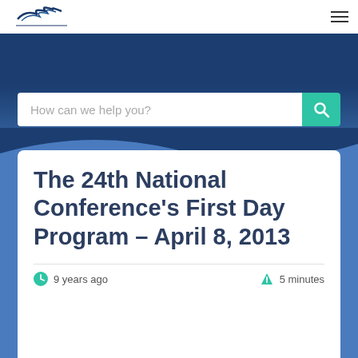[Logo] [Hamburger menu]
[Figure (screenshot): Website hero banner with dark navy blue gradient background and a search bar reading 'How can we help you?' with a teal search button]
The 24th National Conference's First Day Program – April 8, 2013
9 years ago    5 minutes